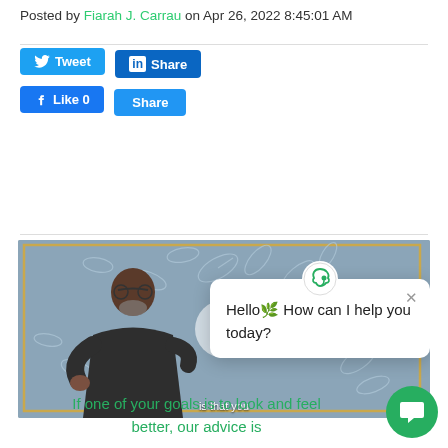Posted by Fiarah J. Carrau on Apr 26, 2022 8:45:01 AM
[Figure (screenshot): Social sharing buttons: Tweet (Twitter), Share (LinkedIn), Like 0 (Facebook), Share]
[Figure (screenshot): Video thumbnail showing a man in dark clothing standing in front of a decorative grey wall with leaf/floral pattern. A play button is visible. A chat popup overlay shows 'Hello How can I help you today?' with a close X button and a brand logo. Subtitle text reads 'is that you'. A green chat FAB button is in the bottom right corner.]
If one of your goals is to look and feel better, our advice is